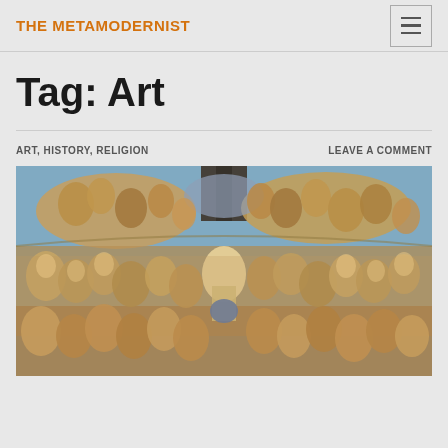THE METAMODERNIST
Tag: Art
ART, HISTORY, RELIGION
LEAVE A COMMENT
[Figure (photo): Michelangelo's Last Judgment fresco — crowded scene of figures in earthy orange, gold, and blue tones, depicting the resurrection and judgment of souls]